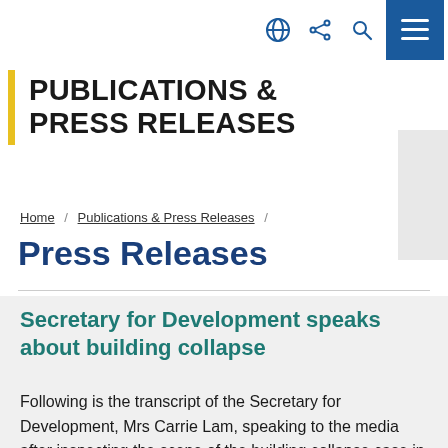PUBLICATIONS & PRESS RELEASES
Home / Publications & Press Releases /
Press Releases
Secretary for Development speaks about building collapse
Following is the transcript of the Secretary for Development, Mrs Carrie Lam, speaking to the media after inspecting the scene of the building collapse case in